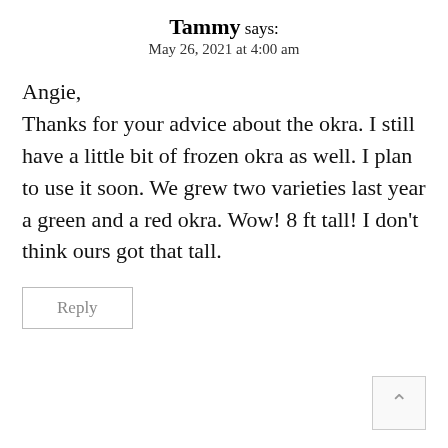Tammy says:
May 26, 2021 at 4:00 am
Angie,
Thanks for your advice about the okra. I still have a little bit of frozen okra as well. I plan to use it soon. We grew two varieties last year a green and a red okra. Wow! 8 ft tall! I don't think ours got that tall.